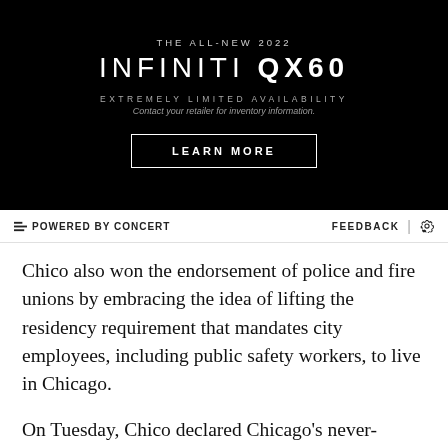[Figure (other): Infiniti QX60 advertisement banner with black background. Text reads: 'THE ALL-NEW 2022 INFINITI QX60 EXTREMELY LIMITED AVAILABILITY Contact your retailer for inventory information.' with a 'LEARN MORE' button.]
⊂ POWERED BY CONCERT    FEEDBACK | ⚙
Chico also won the endorsement of police and fire unions by embracing the idea of lifting the residency requirement that mandates city employees, including public safety workers, to live in Chicago.
On Tuesday, Chico declared Chicago's never-ending gang violence the No. 1 issue and said Emanuel's two-year plan to hire 970 additional police officers may not be enough to stop it.